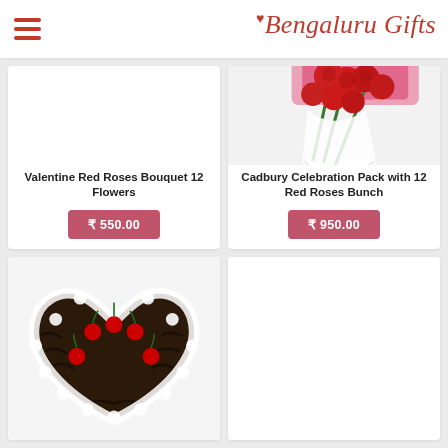Bengaluru Gifts
[Figure (photo): Valentine Red Roses Bouquet with 12 flowers - left card image (partially visible/white)]
Valentine Red Roses Bouquet 12 Flowers
₹ 550.00
[Figure (photo): Cadbury Celebration Pack with 12 Red Roses Bunch - bouquet of red roses with chocolate box behind]
Cadbury Celebration Pack with 12 Red Roses Bunch
₹ 950.00
[Figure (photo): Heart-shaped black forest cake with white cream, chocolate shavings and red cherries on top]
[Figure (photo): Fourth product card - partially visible, no image shown]